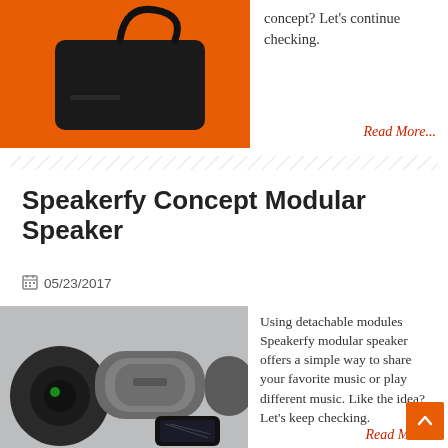[Figure (photo): Photo of a black device/mouse on an orange background]
concept? Let's continue checking.
Read More...
Speakerfy Concept Modular Speaker
05/23/2017
[Figure (photo): Photo of Speakerfy modular speakers (grey/black pill-shaped speakers) with a smartphone on a grey background]
Using detachable modules Speakerfy modular speaker offers a simple way to share your favorite music or play different music. Like the idea? Let's keep checking.
Read More...